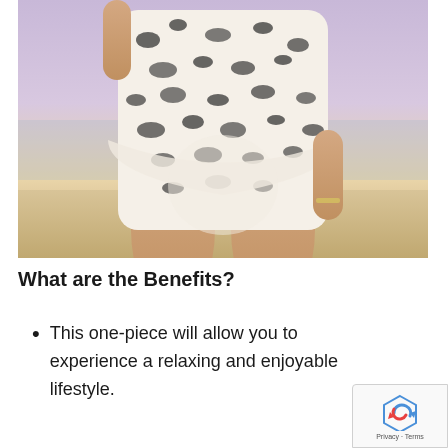[Figure (photo): A pregnant woman standing on a beach wearing a white and black leopard-print one-piece maternity swimsuit. She is holding her belly with both hands. Beach and ocean visible in background with sunset lighting.]
What are the Benefits?
This one-piece will allow you to experience a relaxing and enjoyable lifestyle.